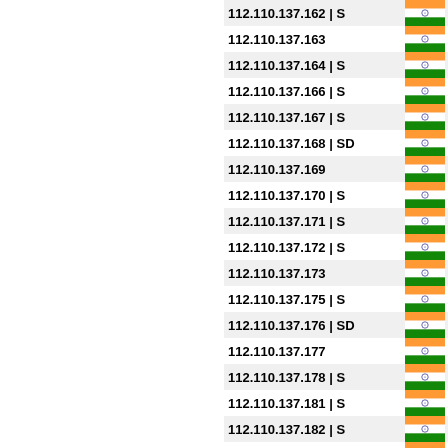| IP Address | Country |
| --- | --- |
| 112.110.137.162 | S | IN |
| 112.110.137.163 | IN |
| 112.110.137.164 | S | IN |
| 112.110.137.166 | S | IN |
| 112.110.137.167 | S | IN |
| 112.110.137.168 | SD | IN |
| 112.110.137.169 | IN |
| 112.110.137.170 | S | IN |
| 112.110.137.171 | S | IN |
| 112.110.137.172 | S | IN |
| 112.110.137.173 | IN |
| 112.110.137.175 | S | IN |
| 112.110.137.176 | SD | IN |
| 112.110.137.177 | IN |
| 112.110.137.178 | S | IN |
| 112.110.137.181 | S | IN |
| 112.110.137.182 | S | IN |
| 112.110.137.183 | IN |
| 112.110.137.184 | IN |
| 112.110.137.185 | SD | IN |
| 112.110.137.186 | SD | IN |
| 112.110.137.187 | S | IN |
| 112.110.137.188 | S | IN |
| 112.110.137.189 | IN |